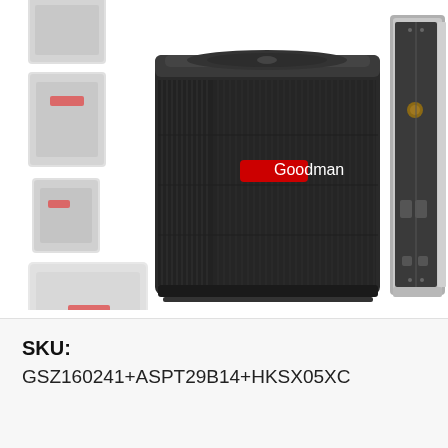[Figure (photo): Product image showing a Goodman air conditioning outdoor condenser unit (dark/black colored) in the center, with an air handler/indoor unit on the right side, and multiple smaller thumbnail views of similar HVAC units on the left side arranged vertically. The Goodman logo is visible as a red label on the condenser unit.]
SKU:
GSZ160241+ASPT29B14+HKSX05XC